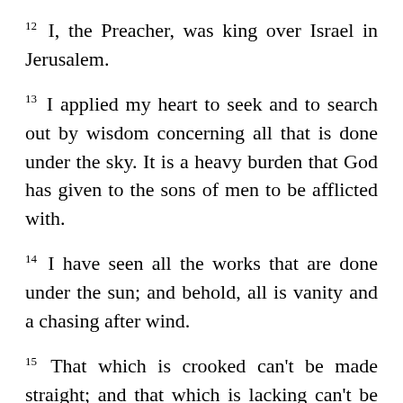12 I, the Preacher, was king over Israel in Jerusalem.
13 I applied my heart to seek and to search out by wisdom concerning all that is done under the sky. It is a heavy burden that God has given to the sons of men to be afflicted with.
14 I have seen all the works that are done under the sun; and behold, all is vanity and a chasing after wind.
15 That which is crooked can’t be made straight; and that which is lacking can’t be counted.
16 I said to myself, “Behold, I have obtained for myself great wisdom above all who were